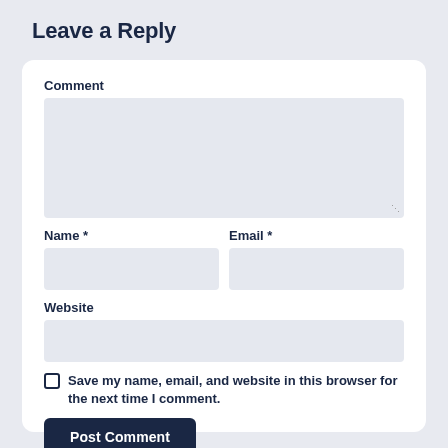Leave a Reply
Comment
[Figure (screenshot): A comment form textarea input field (empty, light gray background)]
Name *
Email *
[Figure (screenshot): Name input field (empty, light gray background)]
[Figure (screenshot): Email input field (empty, light gray background)]
Website
[Figure (screenshot): Website input field (empty, light gray background)]
Save my name, email, and website in this browser for the next time I comment.
Post Comment